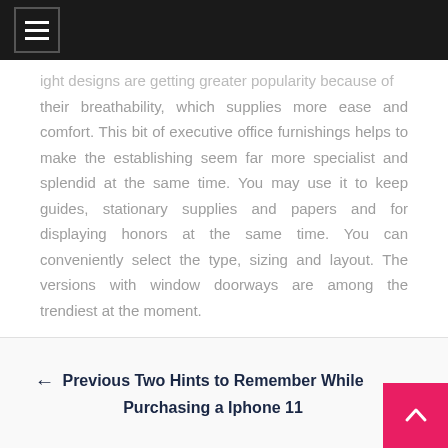≡ (navigation menu)
...their breathability, which supplies more ease and comfort. This bit of executive office furnishings helps to make the establishing seem far more specialist and splendid at the same time. You may use it to keep guides, stationary supplies and papers and for displaying honors at the same time. You can conveniently select the type, sizing and layout. The versions with window doorways are among the trendiest at the moment.
General
← Previous Two Hints to Remember While Purchasing a Iphone 11